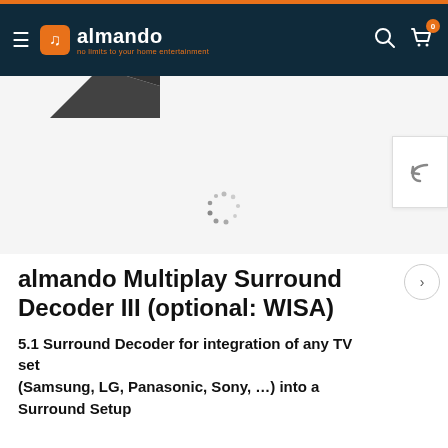almando — no limits to your home entertainment
[Figure (screenshot): Product image area showing partial view of almando Multiplay Surround Decoder III device in dark color against light gray background, with a loading spinner visible]
almando Multiplay Surround Decoder III (optional: WISA)
5.1 Surround Decoder for integration of any TV set
(Samsung, LG, Panasonic, Sony, …) into a Surround Setup